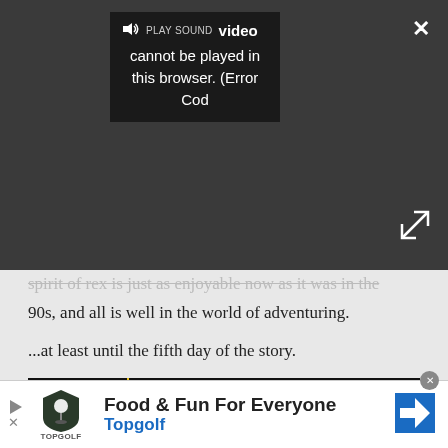[Figure (screenshot): Video player overlay on dark gray background showing a 'Video cannot be played in this browser. (Error Cod' error popup with PLAY SOUND button, speaker icon, close X button, and expand arrows]
spirit of rex is just as enjoyable now as it was in the 90s, and all is well in the world of adventuring.
...at least until the fifth day of the story.
[Figure (screenshot): Game screenshot showing a colorful platformer scene with a pyramid of golden/brown tiles, a red sun with rays, palm tree, and small platforms on a teal background. Characters visible on the pyramid structure.]
[Figure (screenshot): Advertisement banner: Food & Fun For Everyone - Topgolf, with Topgolf shield logo and blue navigation arrow logo]